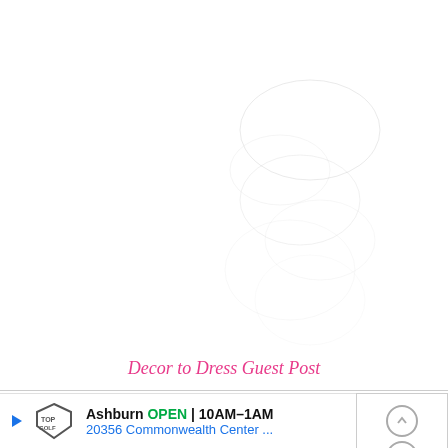[Figure (other): Faded/watermarked image in the upper portion of the page, mostly white with faint shapes]
Decor to Dress Guest Post
[Figure (other): Advertisement banner for Topgolf in Ashburn showing OPEN 10AM-1AM, 20356 Commonwealth Center ..., with navigation icon and close button]